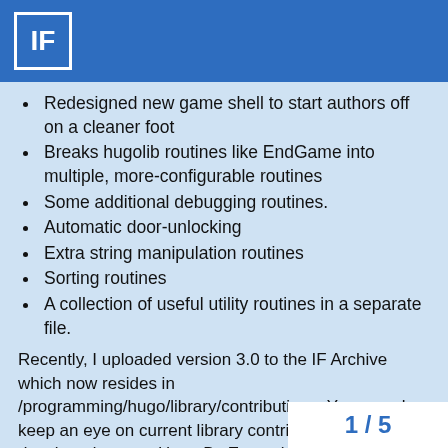IF
Redesigned new game shell to start authors off on a cleaner foot
Breaks hugolib routines like EndGame into multiple, more-configurable routines
Some additional debugging routines.
Automatic door-unlocking
Extra string manipulation routines
Sorting routines
A collection of useful utility routines in a separate file.
Recently, I uploaded version 3.0 to the IF Archive which now resides in /programming/hugo/library/contributions. You can also keep an eye on current library contributions being developed over at Hugo By Example:
http://hugo.gerynarsabode.org/index.php?title=Category:Library_Contributions 2
As always, Hugo enthusiasts can be reach joltcountry forums (joltcountry.com/phpBB2
1 / 5